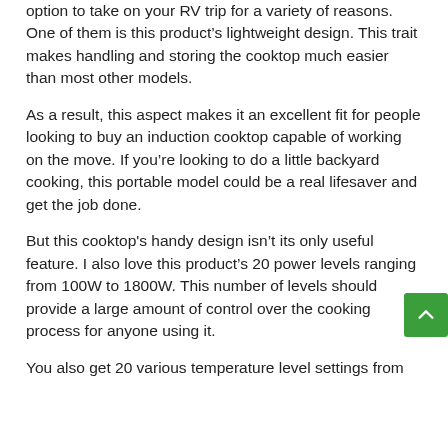option to take on your RV trip for a variety of reasons. One of them is this product’s lightweight design. This trait makes handling and storing the cooktop much easier than most other models.
As a result, this aspect makes it an excellent fit for people looking to buy an induction cooktop capable of working on the move. If you’re looking to do a little backyard cooking, this portable model could be a real lifesaver and get the job done.
But this cooktop's handy design isn’t its only useful feature. I also love this product’s 20 power levels ranging from 100W to 1800W. This number of levels should provide a large amount of control over the cooking process for anyone using it.
You also get 20 various temperature level settings from